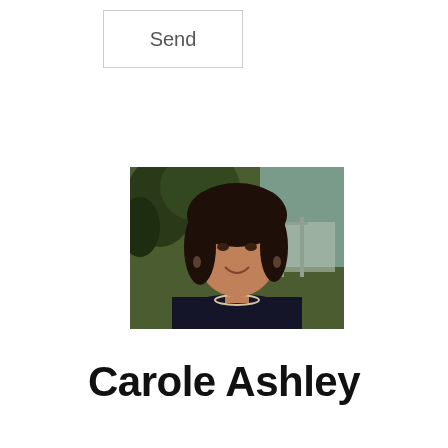Send
[Figure (photo): Headshot of a woman with dark hair, smiling, wearing a pearl necklace and dark top, with trees and a structure visible in the background.]
Carole Ashley
Realtor©